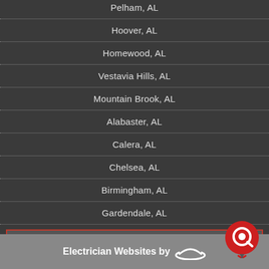Pelham, AL
Hoover, AL
Homewood, AL
Vestavia Hills, AL
Mountain Brook, AL
Alabaster, AL
Calera, AL
Chelsea, AL
Birmingham, AL
Gardendale, AL
AND MORE
Electrician Websites by [logo]